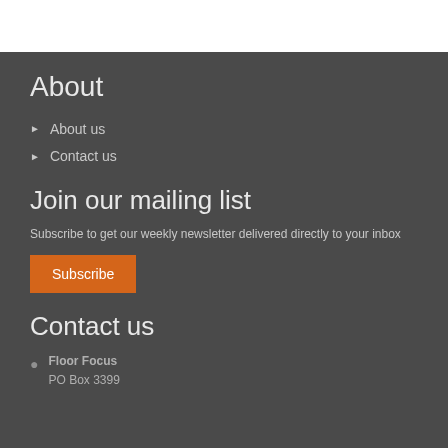About
About us
Contact us
Join our mailing list
Subscribe to get our weekly newsletter delivered directly to your inbox
Subscribe
Contact us
Floor Focus
PO Box 3399